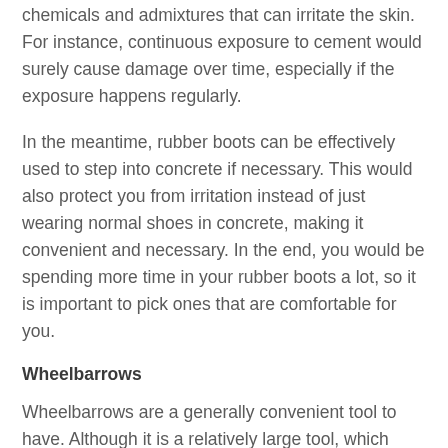chemicals and admixtures that can irritate the skin. For instance, continuous exposure to cement would surely cause damage over time, especially if the exposure happens regularly.
In the meantime, rubber boots can be effectively used to step into concrete if necessary. This would also protect you from irritation instead of just wearing normal shoes in concrete, making it convenient and necessary. In the end, you would be spending more time in your rubber boots a lot, so it is important to pick ones that are comfortable for you.
Wheelbarrows
Wheelbarrows are a generally convenient tool to have. Although it is a relatively large tool, which may make